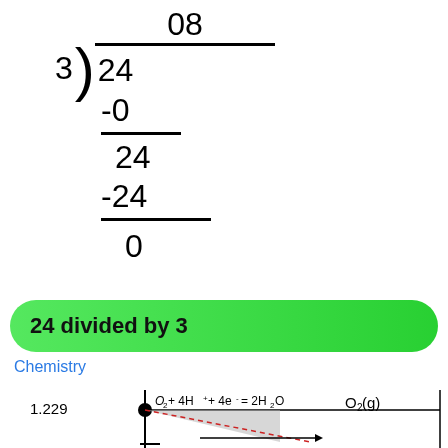24 divided by 3
Chemistry
[Figure (other): Electrochemistry chart showing O2 + 4H+ + 4e- = 2H2O reaction with 1.229 potential marked, O2(g) label, and a shaded region with dashed red line]